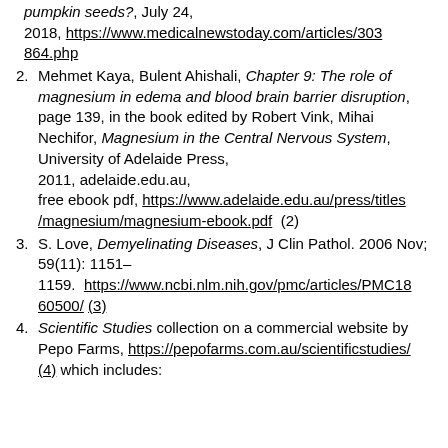(continuation) pumpkin seeds?, July 24, 2018, https://www.medicalnewstoday.com/articles/303864.php
2. Mehmet Kaya, Bulent Ahishali, Chapter 9: The role of magnesium in edema and blood brain barrier disruption, page 139, in the book edited by Robert Vink, Mihai Nechifor, Magnesium in the Central Nervous System, University of Adelaide Press, 2011, adelaide.edu.au, free ebook pdf, https://www.adelaide.edu.au/press/titles/magnesium/magnesium-ebook.pdf (2)
3. S. Love, Demyelinating Diseases, J Clin Pathol. 2006 Nov; 59(11): 1151–1159. https://www.ncbi.nlm.nih.gov/pmc/articles/PMC1860500/ (3)
4. Scientific Studies collection on a commercial website by Pepo Farms, https://pepofarms.com.au/scientificstudies/ (4) which includes: